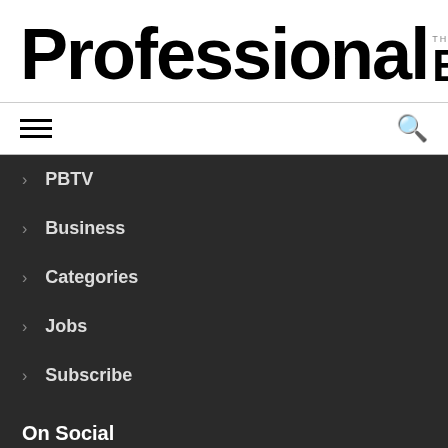[Figure (logo): Professional Beauty magazine logo — 'Professional' in large bold black text, with tagline 'THE BIBLE OF THE BEAUTY INDUSTRY' and 'BEAUTY' in bold black capitals to the right]
PBTV
Business
Categories
Jobs
Subscribe
On Social